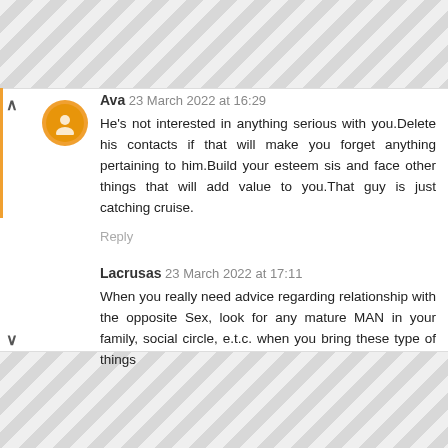Ava 23 March 2022 at 16:29
He's not interested in anything serious with you.Delete his contacts if that will make you forget anything pertaining to him.Build your esteem sis and face other things that will add value to you.That guy is just catching cruise.
Reply
Lacrusas 23 March 2022 at 17:11
When you really need advice regarding relationship with the opposite Sex, look for any mature MAN in your family, social circle, e.t.c. when you bring these type of things